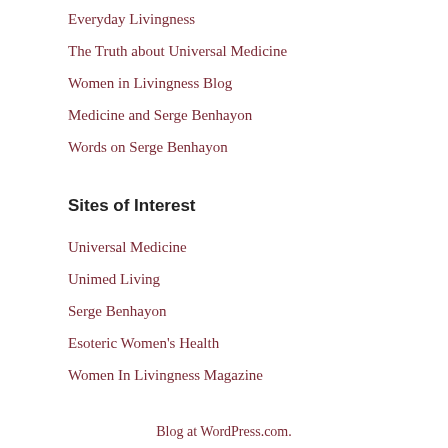Everyday Livingness
The Truth about Universal Medicine
Women in Livingness Blog
Medicine and Serge Benhayon
Words on Serge Benhayon
Sites of Interest
Universal Medicine
Unimed Living
Serge Benhayon
Esoteric Women's Health
Women In Livingness Magazine
Blog at WordPress.com.